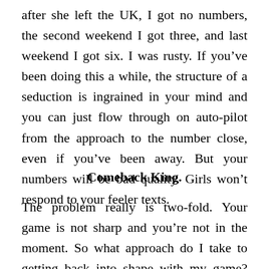after she left the UK, I got no numbers, the second weekend I got three, and last weekend I got six. I was rusty. If you’ve been doing this a while, the structure of a seduction is ingrained in your mind and you can just flow through on auto-pilot from the approach to the number close, even if you’ve been away. But your numbers will be bad quality. Girls won’t respond to your feeler texts.
Comeback King.
The problem really is two-fold. Your game is not sharp and you’re not in the moment. So what approach do I take to getting back into shape with my game? The first thing to do is